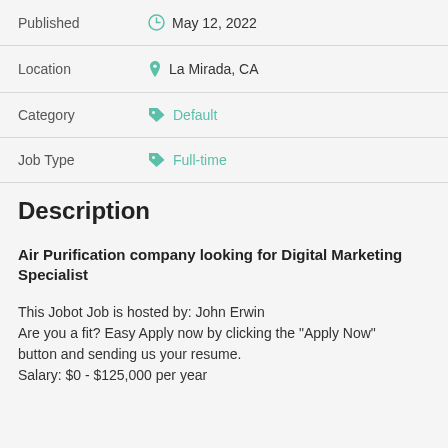Published  May 12, 2022
Location  La Mirada, CA
Category  Default
Job Type  Full-time
Description
Air Purification company looking for Digital Marketing Specialist
This Jobot Job is hosted by: John Erwin
Are you a fit? Easy Apply now by clicking the "Apply Now" button and sending us your resume.
Salary: $0 - $125,000 per year